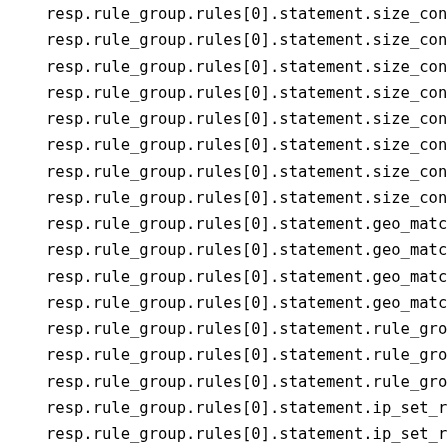resp.rule_group.rules[0].statement.size_constra
resp.rule_group.rules[0].statement.size_constra
resp.rule_group.rules[0].statement.size_constra
resp.rule_group.rules[0].statement.size_constra
resp.rule_group.rules[0].statement.size_constra
resp.rule_group.rules[0].statement.size_constra
resp.rule_group.rules[0].statement.size_constra
resp.rule_group.rules[0].statement.size_constra
resp.rule_group.rules[0].statement.geo_match_st
resp.rule_group.rules[0].statement.geo_match_st
resp.rule_group.rules[0].statement.geo_match_st
resp.rule_group.rules[0].statement.geo_match_st
resp.rule_group.rules[0].statement.rule_group_r
resp.rule_group.rules[0].statement.rule_group_r
resp.rule_group.rules[0].statement.rule_group_r
resp.rule_group.rules[0].statement.ip_set_refer
resp.rule_group.rules[0].statement.ip_set_refer
resp.rule_group.rules[0].statement.ip_set_refer
resp.rule_group.rules[0].statement.ip_set_refer
resp.rule_group.rules[0].statement.regex_patter
resp.rule_group.rules[0].statement.regex_patter
resp.rule_group.rules[0].statement.regex_patter
resp.rule_group.rules[0].statement.regex_patter
resp.rule_group.rules[0].statement.regex_patter
resp.rule_group.rules[0].statement.regex_patter
resp.rule_group.rules[0].statement.regex_patter
resp.rule_group.rules[0].statement.regex_pate